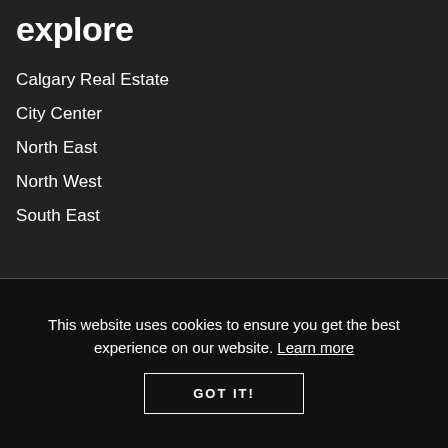explore
Calgary Real Estate
City Center
North East
North West
South East
This website uses cookies to ensure you get the best experience on our website. Learn more
GOT IT!